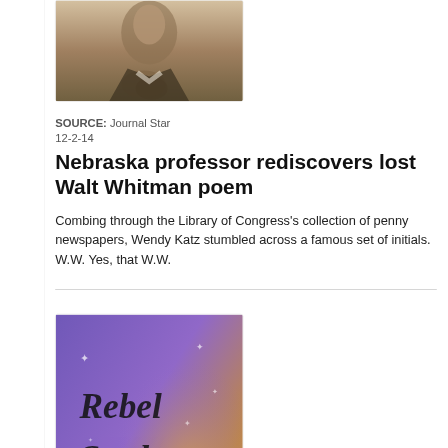[Figure (photo): Black and white portrait photo of a bearded man (Walt Whitman), top portion visible, cropped at the bottom]
SOURCE: Journal Star
12-2-14
Nebraska professor rediscovers lost Walt Whitman poem
Combing through the Library of Congress's collection of penny newspapers, Wendy Katz stumbled across a famous set of initials. W.W. Yes, that W.W.
[Figure (photo): Book cover image for 'Rebel Souls' — purple/violet background with stars, cursive text reading 'Rebel Souls', and a figure of a man wearing a hat]
8-29-14